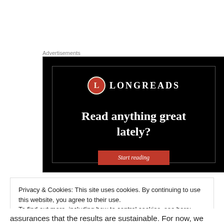Advertisements
[Figure (illustration): Longreads advertisement banner on black background with logo, text 'Read anything great lately?' and a red 'Start reading' button]
Privacy & Cookies: This site uses cookies. By continuing to use this website, you agree to their use.
To find out more, including how to control cookies, see here: Cookie Policy
Close and accept
assurances that the results are sustainable. For now, we